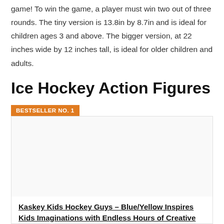game! To win the game, a player must win two out of three rounds. The tiny version is 13.8in by 8.7in and is ideal for children ages 3 and above. The bigger version, at 22 inches wide by 12 inches tall, is ideal for older children and adults.
Ice Hockey Action Figures
BESTSELLER NO. 1
[Figure (photo): Product image area (white/light gray box) for bestseller item]
Kaskey Kids Hockey Guys – Blue/Yellow Inspires Kids Imaginations with Endless Hours of Creative